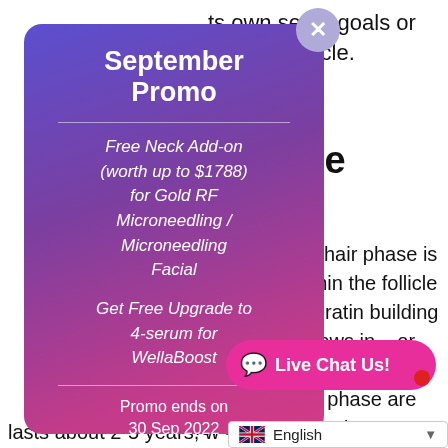ts own set of goals or the hair follicle.
n Phase
ctive phase of hair phase is the time ls within the follicle ng new hair keratin building human hair grows in. , or about 5 mm, period. The length anagen phase are for scalp and body agen lasts about 2-5 years, w
[Figure (infographic): Promotional popup card with gradient purple-to-pink background. Title: 'September Promo'. Offers: 'Free Neck Add-on (worth up to $1788) for Gold RF Microneedling / Microneedling Facial' and 'Get Free Upgrade to 4-serum for WellaBoost'. Footer: 'Promo ends on 30 Sep 2022'. Button: 'LEARN MORE'. Has a close (X) button at top right.]
Live Chat Us!
English